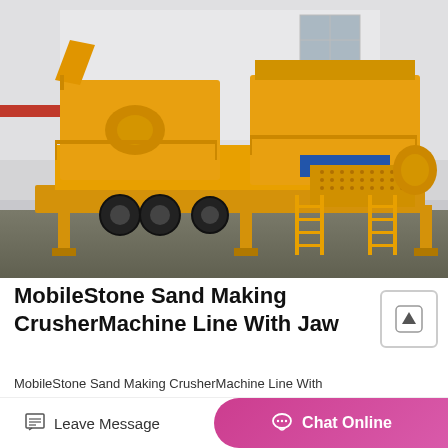[Figure (photo): Large yellow mobile stone sand making crusher machine line with jaw crusher, cone crusher, and screener mounted on a wheeled trailer, photographed in an industrial yard with a white building in the background.]
MobileStone Sand Making CrusherMachine Line With Jaw
MobileStone Sand Making CrusherMachine Line With JawCrusher Cone CrusherScreoner  Find Complete
Leave Message
Chat Online